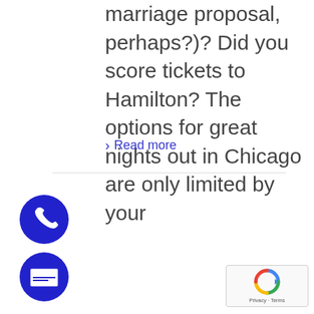marriage proposal, perhaps?)? Did you score tickets to Hamilton? The options for great nights out in Chicago are only limited by your
› Read more
[Figure (illustration): Blue circular icon with a white telephone/phone handset symbol]
[Figure (illustration): Blue circular icon with a white envelope/mail symbol]
[Figure (illustration): reCAPTCHA widget showing a spinning arrows logo with Privacy - Terms text]